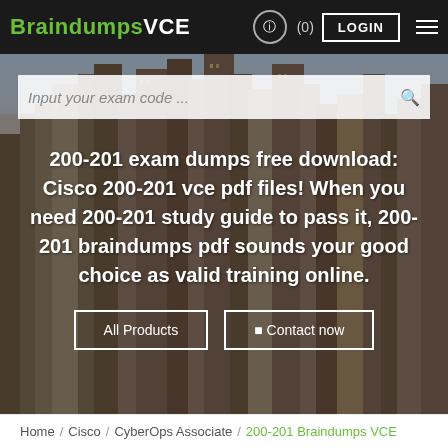BraindumpsVCE (0) LOGIN
[Figure (screenshot): City skyline background photo with skyscrapers, used as hero banner image]
Input your exam code ...
200-201 exam dumps free download: Cisco 200-201 vce pdf files! When you need 200-201 study guide to pass it, 200-201 braindumps pdf sounds your good choice as valid training online.
All Products
Contact now
Home / Cisco / CyberOps Associate / 200-201 Braindumps VCE